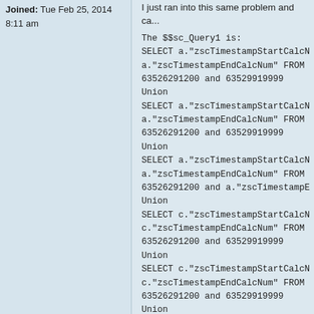Joined: Tue Feb 25, 2014 8:11 am
I just ran into this same problem and ca...
The $$sc_Query1 is:
SELECT a."zscTimestampStartCalcNum"
a."zscTimestampEndCalcNum" FROM "S
63526291200 and 63529919999
Union
SELECT a."zscTimestampStartCalcNum"
a."zscTimestampEndCalcNum" FROM "S
63526291200 and 63529919999
Union
SELECT a."zscTimestampStartCalcNum"
a."zscTimestampEndCalcNum" FROM "S
63526291200 and a."zscTimestampEndC
Union
SELECT c."zscTimestampStartCalcNum"
c."zscTimestampEndCalcNum" FROM "S
63526291200 and 63529919999
Union
SELECT c."zscTimestampStartCalcNum"
c."zscTimestampEndCalcNum" FROM "S
63526291200 and 63529919999
Union
SELECT c."zscTimestampStartCalcNum"
c."zscTimestampEndCalcNum" FROM "S
and c."zscTimestampEndCalcNum" > 63...